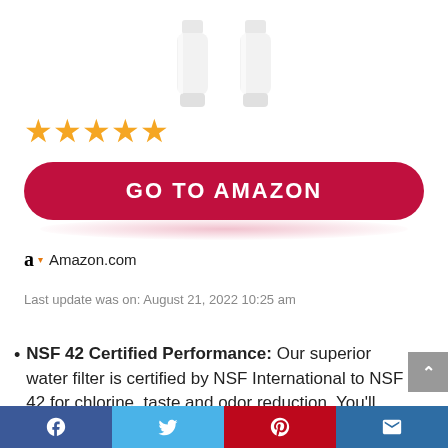[Figure (photo): Two white water filter cartridge bottles shown partially cropped at top of image]
★★★★★
GO TO AMAZON
Amazon.com
Last update was on: August 21, 2022 10:25 am
NSF 42 Certified Performance: Our superior water filter is certified by NSF International to NSF 42 for chlorine, taste and odor reduction. You'll enjoy freshly filtered ice and water every day.